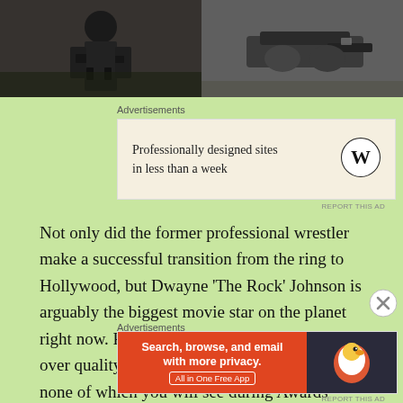[Figure (photo): Two side-by-side dark photos: left shows a man in military/tactical gear, right shows hands holding a gun]
Advertisements
[Figure (other): WordPress advertisement: 'Professionally designed sites in less than a week' with WordPress logo]
REPORT THIS AD
Not only did the former professional wrestler make a successful transition from the ring to Hollywood, but Dwayne 'The Rock' Johnson is arguably the biggest movie star on the planet right now. Rocky is a big believer in quantity over quality, pumping out movie after movie, none of which you will see during Awards season. However, he has some very enjoyable movies
Advertisements
[Figure (other): DuckDuckGo advertisement: 'Search, browse, and email with more privacy. All in One Free App' with DuckDuckGo logo]
REPORT THIS AD